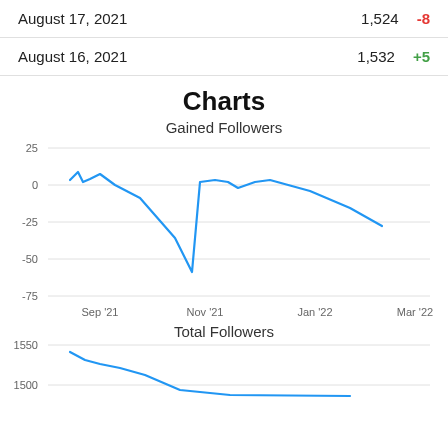| Date | Count | Change |
| --- | --- | --- |
| August 17, 2021 | 1,524 | -8 |
| August 16, 2021 | 1,532 | +5 |
Charts
Gained Followers
[Figure (line-chart): Gained Followers]
Total Followers
[Figure (line-chart): Total Followers]